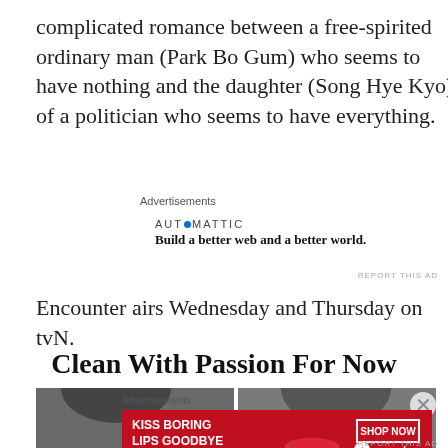complicated romance between a free-spirited ordinary man (Park Bo Gum) who seems to have nothing and the daughter (Song Hye Kyo) of a politician who seems to have everything.
Advertisements
[Figure (other): Automattic advertisement: logo text 'AUTOMATTIC' with blue dot, tagline 'Build a better web and a better world.']
REPORT THIS AD
Encounter airs Wednesday and Thursday on tvN.
Clean With Passion For Now
[Figure (photo): Photo strip showing two people with dark hair, cropped at top of frame.]
Advertisements
[Figure (other): Macy's advertisement: red background, text 'KISS BORING LIPS GOODBYE' with lip image, 'SHOP NOW' button and Macy's star logo.]
REPORT THIS AD